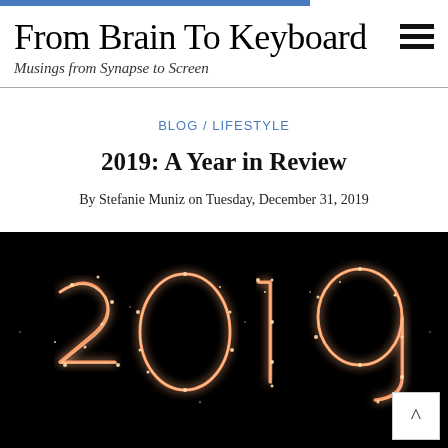From Brain To Keyboard — Musings from Synapse to Screen
BLOG / LIFESTYLE
2019: A Year in Review
By Stefanie Muniz on Tuesday, December 31, 2019
[Figure (photo): Photo of the number '2019' written in sparkler light on a dark background]